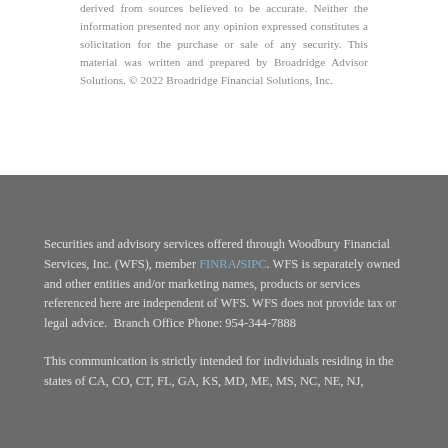derived from sources believed to be accurate. Neither the information presented nor any opinion expressed constitutes a solicitation for the purchase or sale of any security. This material was written and prepared by Broadridge Advisor Solutions. © 2022 Broadridge Financial Solutions, Inc.
Securities and advisory services offered through Woodbury Financial Services, Inc. (WFS), member FINRA/SIPC. WFS is separately owned and other entities and/or marketing names, products or services referenced here are independent of WFS. WFS does not provide tax or legal advice. Branch Office Phone: 954-344-7888
This communication is strictly intended for individuals residing in the states of CA, CO, CT, FL, GA, KS, MD, ME, MS, NC, NE, NJ,